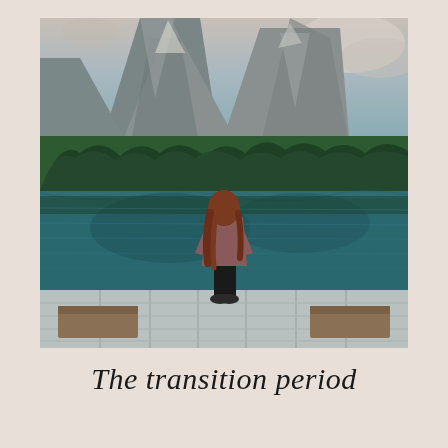[Figure (photo): A woman with long reddish-brown hair standing on a wooden dock, viewed from behind, looking out over a calm turquoise alpine lake. Behind the lake are densely forested mountain slopes and dramatic rocky mountain peaks under a partly cloudy sky.]
The transition period